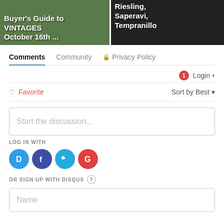[Figure (screenshot): Two thumbnail images side by side: left shows 'Buyer's Guide to VINTAGES October 16th ...' over a vineyard background; right shows 'Riesling, Saperavi, Tempranillo' over a dark portrait background]
Comments   Community   Privacy Policy
1   Login
Favorite   Sort by Best
Start the discussion...
LOG IN WITH
[Figure (logo): Social login icons: Disqus (D), Facebook (f), Twitter bird, Google (G)]
OR SIGN UP WITH DISQUS ?
Name